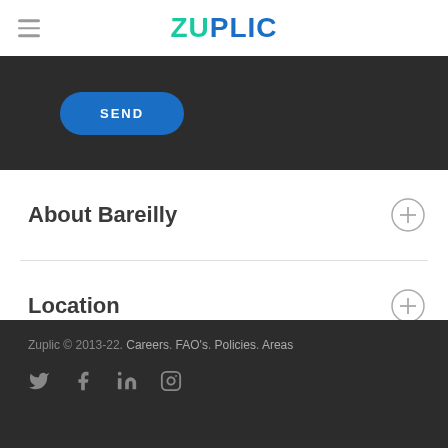ZUPLIC
[Figure (screenshot): SEND button on dark background]
About Bareilly
Location
Zuplic © 2013-22. Careers. FAO's. Policies. Areas